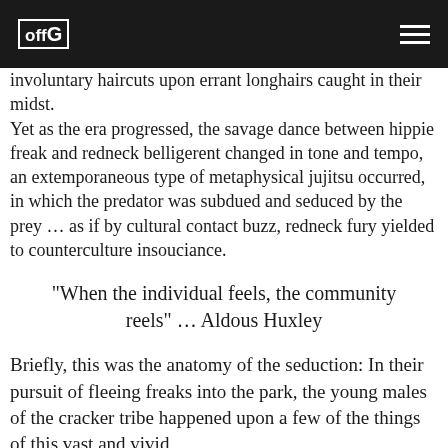offG (logo) | hamburger menu
involuntary haircuts upon errant longhairs caught in their midst.
Yet as the era progressed, the savage dance between hippie freak and redneck belligerent changed in tone and tempo, an extemporaneous type of metaphysical jujitsu occurred, in which the predator was subdued and seduced by the prey … as if by cultural contact buzz, redneck fury yielded to counterculture insouciance.
“When the individual feels, the community reels” … Aldous Huxley
Briefly, this was the anatomy of the seduction: In their pursuit of fleeing freaks into the park, the young males of the cracker tribe happened upon a few of the things of this vast and vivid